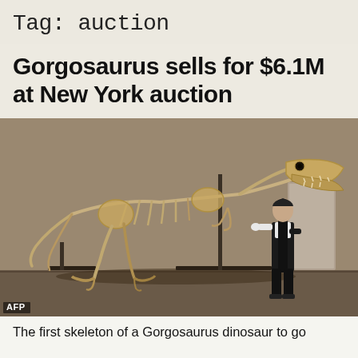Tag: auction
Gorgosaurus sells for $6.1M at New York auction
[Figure (photo): A Gorgosaurus dinosaur skeleton mounted on a metal stand in a gallery space, with a person in formal attire standing beside it looking up at the skeleton. AFP photo credit shown in bottom-left corner.]
AFP
The first skeleton of a Gorgosaurus dinosaur to go